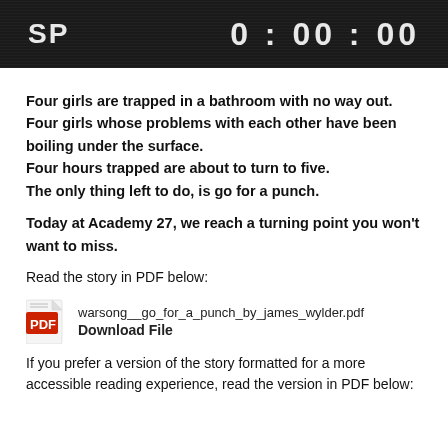[Figure (screenshot): VHS-style black banner displaying 'SP' on the left and '0:00:00' time counter on the right in white/grey text on dark background with scanlines]
Four girls are trapped in a bathroom with no way out.
Four girls whose problems with each other have been boiling under the surface.
Four hours trapped are about to turn to five.
The only thing left to do, is go for a punch.
Today at Academy 27, we reach a turning point you won't want to miss.
Read the story in PDF below:
[Figure (other): Adobe PDF icon (red and white document icon)]
warsong__go_for_a_punch_by_james_wylder.pdf
Download File
If you prefer a version of the story formatted for a more accessible reading experience, read the version in PDF below: